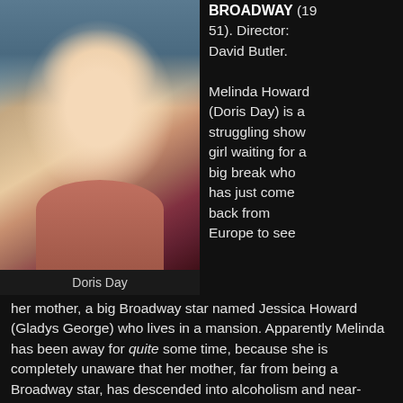[Figure (photo): Photograph of Doris Day, a blonde woman in a pink strapless dress with a pearl necklace, smiling]
Doris Day
BROADWAY (1951). Director: David Butler.

Melinda Howard (Doris Day) is a struggling show girl waiting for a big break who has just come back from Europe to see her mother, a big Broadway star named Jessica Howard (Gladys George) who lives in a mansion. Apparently Melinda has been away for quite some time, because she is completely unaware that her mother, far from being a Broadway star, has descended into alcoholism and near-oblivion and is now croaking out songs in a not-so-posh supper club. The mansion is now owned by theatrical producer Adolph Hubbell (S. Z. Sakall), who lives there with his formidable wife, Anna (Florence Bates). Taking pity on Melinda, dance man turned butler Lefty (Billy De Wolfe of